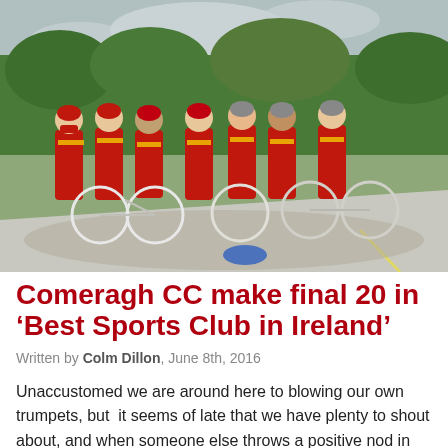[Figure (photo): Group of cyclists in red and yellow jerseys posing with their bicycles on a road beside a gravel area, with green trees and overcast sky in the background.]
Comeragh CC make final 20 in ‘Best Sports Club in Ireland’
Written by Colm Dillon, June 8th, 2016
Unaccustomed we are around here to blowing our own trumpets, but  it seems of late that we have plenty to shout about, and when someone else throws a positive nod in our direction, everyone gets a little lift and can